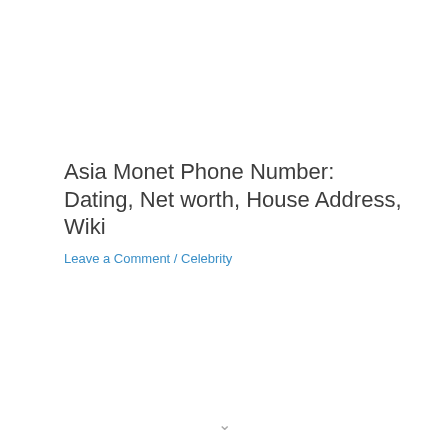Asia Monet Phone Number: Dating, Net worth, House Address, Wiki
Leave a Comment / Celebrity